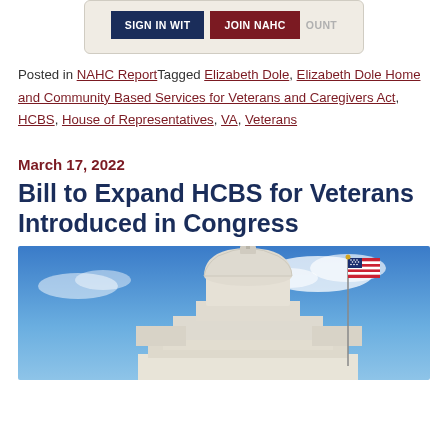[Figure (screenshot): Navigation bar with 'SIGN IN WIT', 'JOIN NAHC' buttons and partial 'OUNT' text on a beige/tan background]
Posted in NAHC Report Tagged Elizabeth Dole, Elizabeth Dole Home and Community Based Services for Veterans and Caregivers Act, HCBS, House of Representatives, VA, Veterans
March 17, 2022
Bill to Expand HCBS for Veterans Introduced in Congress
[Figure (photo): Photo of the U.S. Capitol building dome and an American flag against a blue sky with clouds]